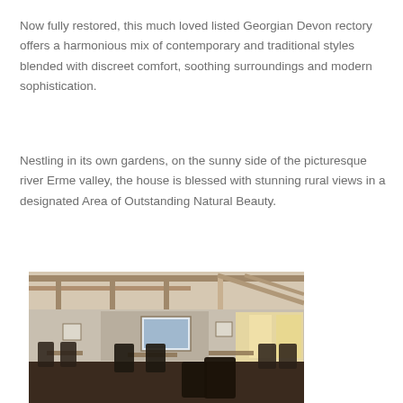Now fully restored, this much loved listed Georgian Devon rectory offers a harmonious mix of contemporary and traditional styles blended with discreet comfort, soothing surroundings and modern sophistication.
Nestling in its own gardens, on the sunny side of the picturesque river Erme valley, the house is blessed with stunning rural views in a designated Area of Outstanding Natural Beauty.
[Figure (photo): Interior photo of a Georgian Devon rectory dining room with exposed wooden ceiling beams, dark leather chairs, wooden tables, framed artwork on walls, and large windows letting in natural light.]